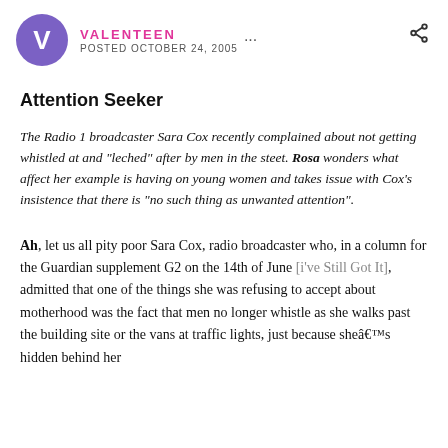VALENTEEN ... POSTED OCTOBER 24, 2005
Attention Seeker
The Radio 1 broadcaster Sara Cox recently complained about not getting whistled at and "leched" after by men in the steet. Rosa wonders what affect her example is having on young women and takes issue with Cox's insistence that there is "no such thing as unwanted attention".
Ah, let us all pity poor Sara Cox, radio broadcaster who, in a column for the Guardian supplement G2 on the 14th of June [i've Still Got It], admitted that one of the things she was refusing to accept about motherhood was the fact that men no longer whistle as she walks past the building site or the vans at traffic lights, just because sheâ€™s hidden behind her